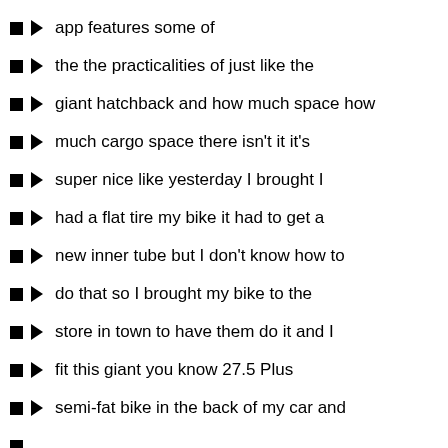app features some of
the the practicalities of just like the
giant hatchback and how much space how
much cargo space there isn't it it's
super nice like yesterday I brought I
had a flat tire my bike it had to get a
new inner tube but I don't know how to
do that so I brought my bike to the
store in town to have them do it and I
fit this giant you know 27.5 Plus
semi-fat bike in the back of my car and